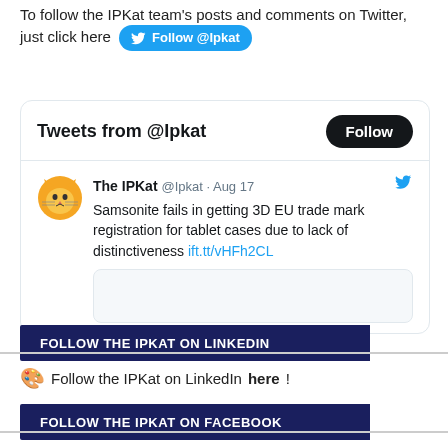To follow the IPKat team's posts and comments on Twitter, just click here [Follow @Ipkat]
[Figure (screenshot): Twitter widget showing 'Tweets from @Ipkat' with a Follow button, and a tweet from The IPKat @Ipkat on Aug 17: 'Samsonite fails in getting 3D EU trade mark registration for tablet cases due to lack of distinctiveness ift.tt/vHFh2CL']
FOLLOW THE IPKAT ON LINKEDIN
Follow the IPKat on LinkedIn here!
FOLLOW THE IPKAT ON FACEBOOK